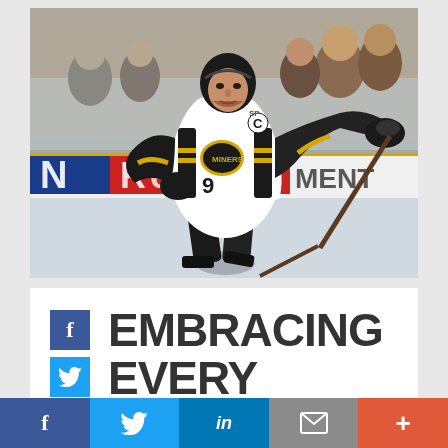[Figure (photo): Hockey player wearing black and white jersey with 'C' captain patch and 'Miners' logo, skating on ice rink with rink boards showing partial advertisement text 'ead' and 'MENT', spectators visible in background]
EMBRACING EVERY
Social share bar with Facebook, Twitter, LinkedIn, Email, and More buttons